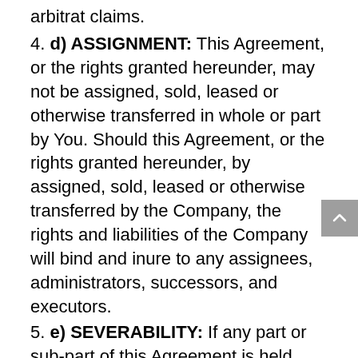arbitrat claims.
4. d) ASSIGNMENT: This Agreement, or the rights granted hereunder, may not be assigned, sold, leased or otherwise transferred in whole or part by You. Should this Agreement, or the rights granted hereunder, by assigned, sold, leased or otherwise transferred by the Company, the rights and liabilities of the Company will bind and inure to any assignees, administrators, successors, and executors.
5. e) SEVERABILITY: If any part or sub-part of this Agreement is held invalid or unenforceable by a court of law or competent arbitrator, the remaining parts and sub-parts will be enforced to the maximum extent possible. In such